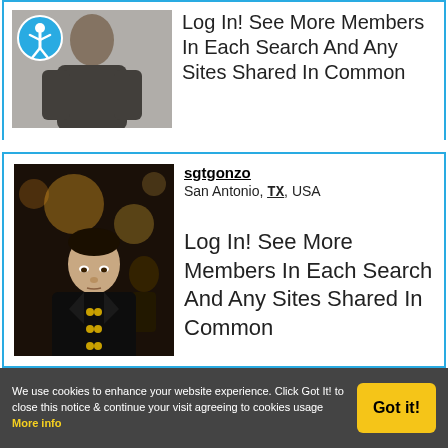[Figure (photo): Cropped photo of a woman with accessibility icon overlay in top-left]
Log In! See More Members In Each Search And Any Sites Shared In Common
[Figure (photo): Photo of a young man in military uniform reading a book at a formal event]
sgtgonzo
San Antonio, TX, USA
Log In! See More Members In Each Search And Any Sites Shared In Common
We use cookies to enhance your website experience. Click Got It! to close this notice & continue your visit agreeing to cookies usage More info
Got it!